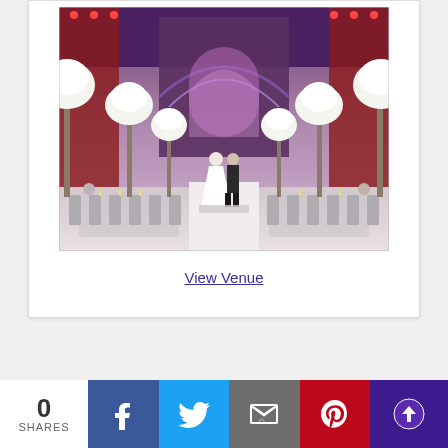[Figure (photo): Wedding ceremony photo inside an ornate venue with tall white floral arrangements, a couple standing at the altar, and guests seated at tables with candles]
View Venue
[Figure (infographic): Social sharing bar with 0 SHARES count, Facebook, Twitter, Email, Pinterest, and scroll-to-top buttons]